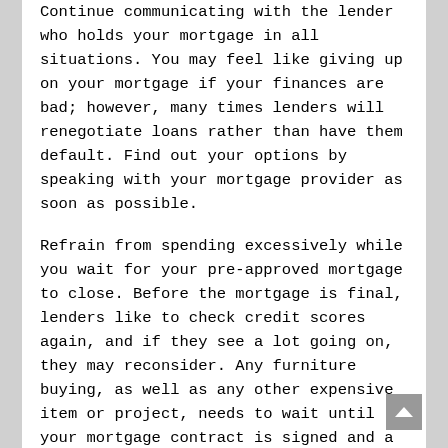Continue communicating with the lender who holds your mortgage in all situations. You may feel like giving up on your mortgage if your finances are bad; however, many times lenders will renegotiate loans rather than have them default. Find out your options by speaking with your mortgage provider as soon as possible.
Refrain from spending excessively while you wait for your pre-approved mortgage to close. Before the mortgage is final, lenders like to check credit scores again, and if they see a lot going on, they may reconsider. Any furniture buying, as well as any other expensive item or project, needs to wait until your mortgage contract is signed and a done deal.
You are sure to need to come up with a down payment. You may not need to with some firms, but most lending firms require a down payment. Consider your finances carefully and find out what kind of down payment you will need to provide.
If you decide on a mortgage, be sure you've got good credit.